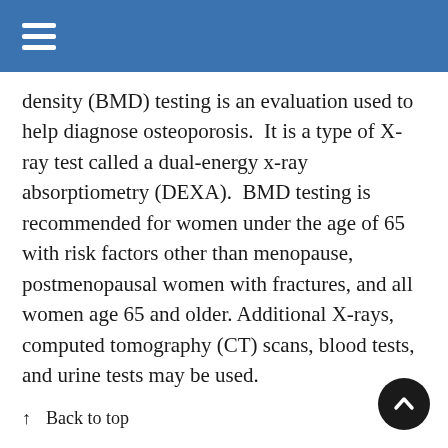≡
density (BMD) testing is an evaluation used to help diagnose osteoporosis.  It is a type of X-ray test called a dual-energy x-ray absorptiometry (DEXA).  BMD testing is recommended for women under the age of 65 with risk factors other than menopause, postmenopausal women with fractures, and all women age 65 and older.  Additional X-rays, computed tomography (CT) scans, blood tests, and urine tests may be used.
↑  Back to top
Treatment
Lost bone cannot be replaced, but further bone loss can be prevented.  Treatments are also aim...